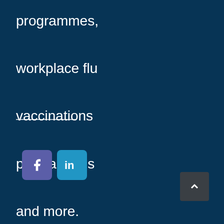programmes,
workplace flu
vaccinations
programmes
and more.
[Figure (other): Facebook and LinkedIn social media icon buttons]
[Figure (other): Scroll to top button with upward chevron arrow]